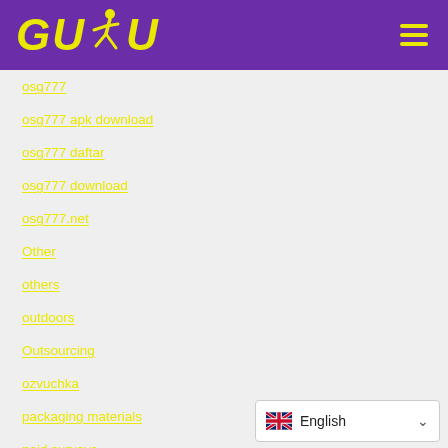[Figure (logo): GUDU logo with yellow text and running figure on purple background, with hamburger menu icon]
osg777
osg777 apk download
osg777 daftar
osg777 download
osg777.net
Other
others
outdoors
Outsourcing
ozvuchka
packaging materials
paid surveys
[Figure (screenshot): English language selector dropdown with UK flag]